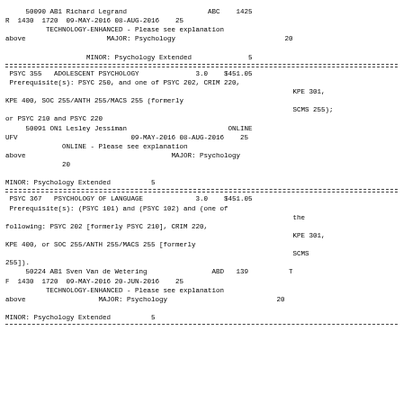50090 AB1 Richard Legrand                    ABC    1425
R  1430  1720  09-MAY-2016 08-AUG-2016    25
          TECHNOLOGY-ENHANCED - Please see explanation
above                    MAJOR: Psychology                           20

                    MINOR: Psychology Extended              5
PSYC 355   ADOLESCENT PSYCHOLOGY              3.0    $451.05
Prerequisite(s): PSYC 250, and one of PSYC 202, CRIM 220,
                                                                          KPE 301,
KPE 400, SOC 255/ANTH 255/MACS 255 (formerly
                                                                          SCMS 255);
or PSYC 210 and PSYC 220
50091 ON1 Lesley Jessiman                         ONLINE
UFV                            09-MAY-2016 08-AUG-2016    25
              ONLINE - Please see explanation
above                                    MAJOR: Psychology
              20

MINOR: Psychology Extended          5
PSYC 367   PSYCHOLOGY OF LANGUAGE             3.0    $451.05
Prerequisite(s): (PSYC 101) and (PSYC 102) and (one of
                                                                          the
following: PSYC 202 [formerly PSYC 210], CRIM 220,
                                                                          KPE 301,
KPE 400, or SOC 255/ANTH 255/MACS 255 [formerly
                                                                          SCMS
255]).
50224 AB1 Sven Van de Wetering                ABD   139          T
F  1430  1720  09-MAY-2016 20-JUN-2016    25
          TECHNOLOGY-ENHANCED - Please see explanation
above                  MAJOR: Psychology                           20

MINOR: Psychology Extended          5